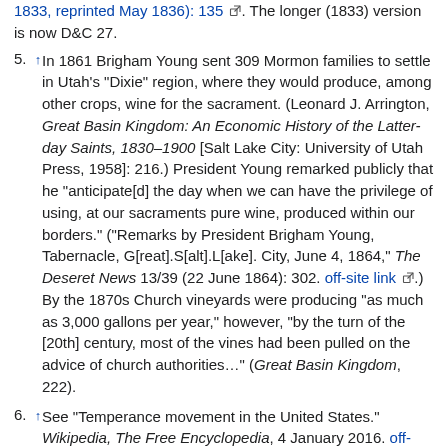(truncated top) 1833, reprinted May 1836): 135 [link]. The longer (1833) version is now D&C 27.
5. ↑ In 1861 Brigham Young sent 309 Mormon families to settle in Utah's "Dixie" region, where they would produce, among other crops, wine for the sacrament. (Leonard J. Arrington, Great Basin Kingdom: An Economic History of the Latter-day Saints, 1830–1900 [Salt Lake City: University of Utah Press, 1958]: 216.) President Young remarked publicly that he "anticipate[d] the day when we can have the privilege of using, at our sacraments pure wine, produced within our borders." ("Remarks by President Brigham Young, Tabernacle, G[reat].S[alt].L[ake]. City, June 4, 1864," The Deseret News 13/39 (22 June 1864): 302. off-site link [link].) By the 1870s Church vineyards were producing "as much as 3,000 gallons per year," however, "by the turn of the [20th] century, most of the vines had been pulled on the advice of church authorities..." (Great Basin Kingdom, 222).
6. ↑ See "Temperance movement in the United States." Wikipedia, The Free Encyclopedia, 4 January 2016. off-site link [link]